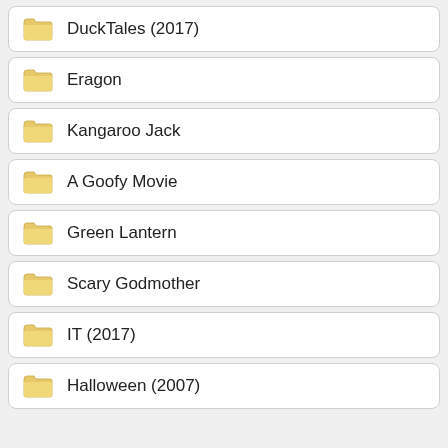DuckTales (2017)
Eragon
Kangaroo Jack
A Goofy Movie
Green Lantern
Scary Godmother
IT (2017)
Halloween (2007)